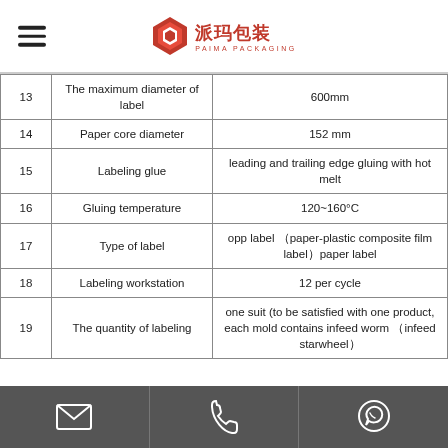Paima Packaging
| No. | Parameter | Value |
| --- | --- | --- |
| 13 | The maximum diameter of label | 600mm |
| 14 | Paper core diameter | 152 mm |
| 15 | Labeling glue | leading and trailing edge gluing with hot melt |
| 16 | Gluing temperature | 120~160°C |
| 17 | Type of label | opp label （paper-plastic composite film label）paper label |
| 18 | Labeling workstation | 12 per cycle |
| 19 | The quantity of labeling | one suit (to be satisfied with one product, each mold contains infeed worm （infeed starwheel） |
Email | Phone | WhatsApp